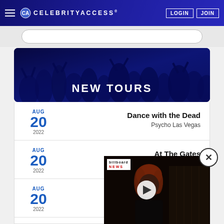CELEBRITYACCESS® | LOGIN | JOIN
[Figure (screenshot): CelebrityAccess website screenshot showing new tours section with hamburger menu, logo, LOGIN and JOIN buttons in navy navigation bar]
NEW TOURS
AUG 20 2022 — Dance with the Dead — Psycho Las Vegas
AUG 20 2022 — At The Gates — Psycho Las Vegas
AUG 20 2022
[Figure (screenshot): Billboard News video overlay with close button showing red-haired woman and play button]